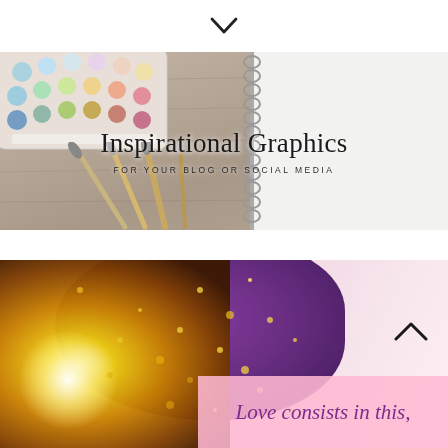[Figure (illustration): Chevron/down arrow icon centered on white background]
[Figure (photo): Banner image showing watercolor paint palette and brushes on wood background on the left, and a spiral notebook on the right. Text overlay reads 'Inspirational Graphics' and 'FOR YOUR BLOG OR SOCIAL MEDIA']
Inspirational Graphics
FOR YOUR BLOG OR SOCIAL MEDIA
[Figure (photo): Glitter and watercolor background image with gold glitter on left, purple watercolor splash in center, and pink gradient on right. Contains a chevron-up arrow icon and a pink quote box at the bottom right with text 'Love consists in this,']